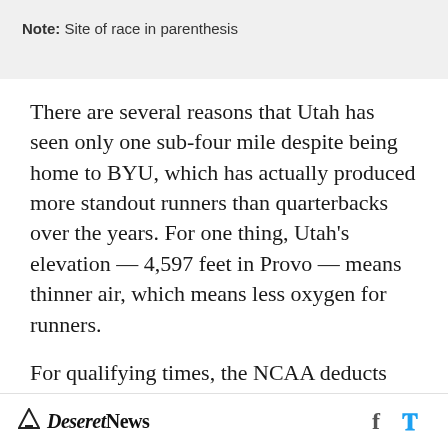Note: Site of race in parenthesis
There are several reasons that Utah has seen only one sub-four mile despite being home to BYU, which has actually produced more standout runners than quarterbacks over the years. For one thing, Utah's elevation — 4,597 feet in Provo — means thinner air, which means less oxygen for runners.
For qualifying times, the NCAA deducts four to five seconds for times at altitude — that's how
Deseret News